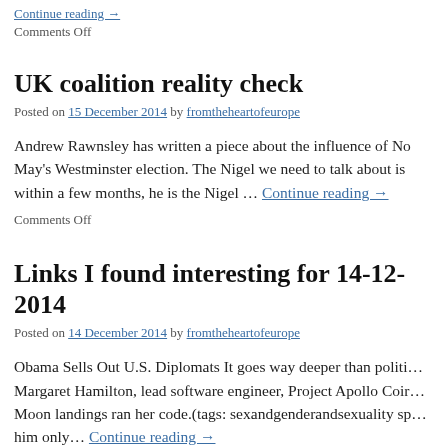Continue reading →
Comments Off
UK coalition reality check
Posted on 15 December 2014 by fromtheheartofeurope
Andrew Rawnsley has written a piece about the influence of No… May's Westminster election. The Nigel we need to talk about is within a few months, he is the Nigel … Continue reading →
Comments Off
Links I found interesting for 14-12-2014
Posted on 14 December 2014 by fromtheheartofeurope
Obama Sells Out U.S. Diplomats It goes way deeper than politi… Margaret Hamilton, lead software engineer, Project Apollo Coir… Moon landings ran her code.(tags: sexandgenderandsexuality sp… him only… Continue reading →